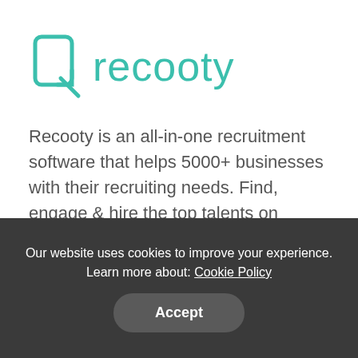[Figure (logo): Recooty logo: teal/turquoise stylized R icon followed by the word 'recooty' in teal color]
Recooty is an all-in-one recruitment software that helps 5000+ businesses with their recruiting needs. Find, engage & hire the top talents on Recooty today!
b d 4 g
Resources
Our website uses cookies to improve your experience. Learn more about: Cookie Policy
Accept